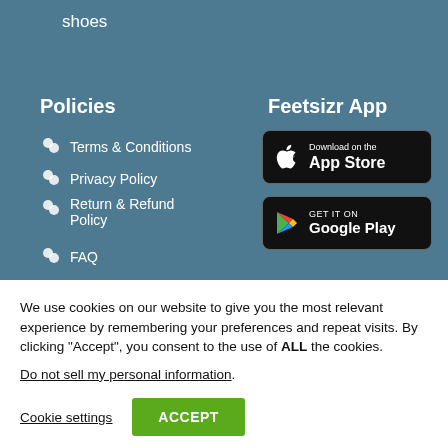shoes
Policies
Terms & Conditions
Privacy Policy
Return & Refund Policy
FAQ
Feetsizr App
[Figure (screenshot): Download on the App Store button]
[Figure (screenshot): Get it on Google Play button]
We use cookies on our website to give you the most relevant experience by remembering your preferences and repeat visits. By clicking “Accept”, you consent to the use of ALL the cookies.
Do not sell my personal information.
Cookie settings
ACCEPT